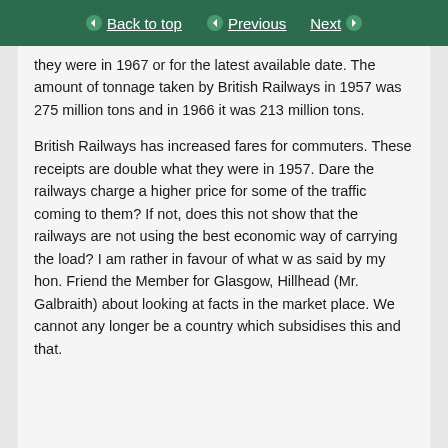Back to top | Previous | Next
they were in 1967 or for the latest available date. The amount of tonnage taken by British Railways in 1957 was 275 million tons and in 1966 it was 213 million tons.
British Railways has increased fares for commuters. These receipts are double what they were in 1957. Dare the railways charge a higher price for some of the traffic coming to them? If not, does this not show that the railways are not using the best economic way of carrying the load? I am rather in favour of what w as said by my hon. Friend the Member for Glasgow, Hillhead (Mr. Galbraith) about looking at facts in the market place. We cannot any longer be a country which subsidises this and that.